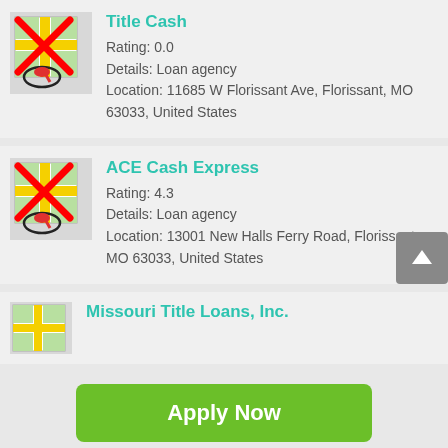[Figure (screenshot): Map icon with red X overlay and red location pin with oval, for Title Cash listing]
Title Cash
Rating: 0.0
Details: Loan agency
Location: 11685 W Florissant Ave, Florissant, MO 63033, United States
[Figure (screenshot): Map icon with red X overlay and red location pin with oval, for ACE Cash Express listing]
ACE Cash Express
Rating: 4.3
Details: Loan agency
Location: 13001 New Halls Ferry Road, Florissant, MO 63033, United States
[Figure (screenshot): Map icon partially visible, for Missouri Title Loans listing]
Missouri Title Loans, Inc.
Apply Now
Applying does NOT affect your credit score!
No credit check to apply.